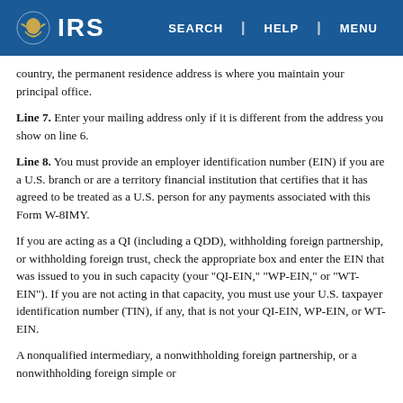IRS | SEARCH | HELP | MENU
country, the permanent residence address is where you maintain your principal office.
Line 7. Enter your mailing address only if it is different from the address you show on line 6.
Line 8. You must provide an employer identification number (EIN) if you are a U.S. branch or are a territory financial institution that certifies that it has agreed to be treated as a U.S. person for any payments associated with this Form W-8IMY.
If you are acting as a QI (including a QDD), withholding foreign partnership, or withholding foreign trust, check the appropriate box and enter the EIN that was issued to you in such capacity (your "QI-EIN," "WP-EIN," or "WT-EIN"). If you are not acting in that capacity, you must use your U.S. taxpayer identification number (TIN), if any, that is not your QI-EIN, WP-EIN, or WT-EIN.
A nonqualified intermediary, a nonwithholding foreign partnership, or a nonwithholding foreign simple or